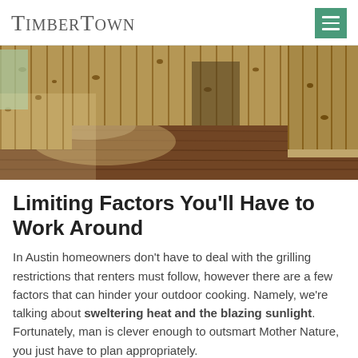TimberTown
[Figure (photo): Interior room with warm-toned hardwood floor and knotty pine wood-paneled walls, sunlight reflecting off the floor.]
Limiting Factors You'll Have to Work Around
In Austin homeowners don't have to deal with the grilling restrictions that renters must follow, however there are a few factors that can hinder your outdoor cooking. Namely, we're talking about sweltering heat and the blazing sunlight. Fortunately, man is clever enough to outsmart Mother Nature, you just have to plan appropriately.